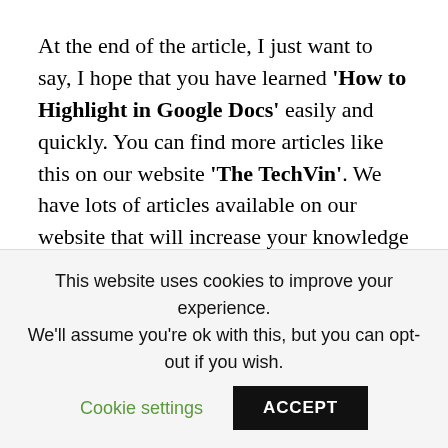At the end of the article, I just want to say, I hope that you have learned 'How to Highlight in Google Docs' easily and quickly. You can find more articles like this on our website 'The TechVin'. We have lots of articles available on our website that will increase your knowledge of google docs and office suite applications. Thanks for reading, keep reading, and keep increasing
This website uses cookies to improve your experience. We'll assume you're ok with this, but you can opt-out if you wish. Cookie settings ACCEPT